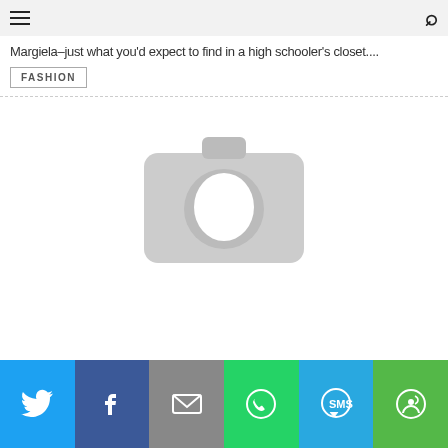≡  🔍
Margiela–just what you'd expect to find in a high schooler's closet....
FASHION
[Figure (photo): Placeholder camera icon image in gray]
[Figure (infographic): Social sharing bar with Twitter, Facebook, Email, WhatsApp, SMS, and More buttons]